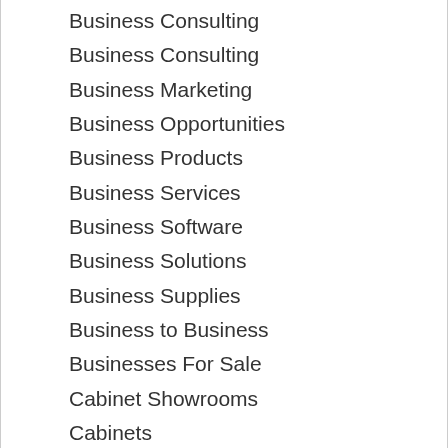Business Consulting
Business Consulting
Business Marketing
Business Opportunities
Business Products
Business Services
Business Software
Business Solutions
Business Supplies
Business to Business
Businesses For Sale
Cabinet Showrooms
Cabinets
Calendars
Campgrounds